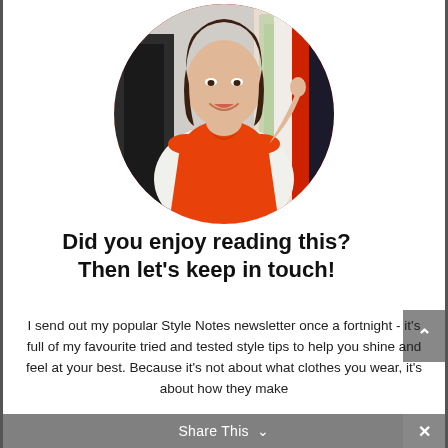[Figure (photo): A woman with short dark hair wearing an orange sleeveless top standing in front of a wardrobe of clothes, cropped in a circular frame.]
Did you enjoy reading this? Then let's keep in touch!
I send out my popular Style Notes newsletter once a fortnight - it's full of my favourite tried and tested style tips to help you shine and feel at your best. Because it's not about what clothes you wear, it's about how they make
Share This